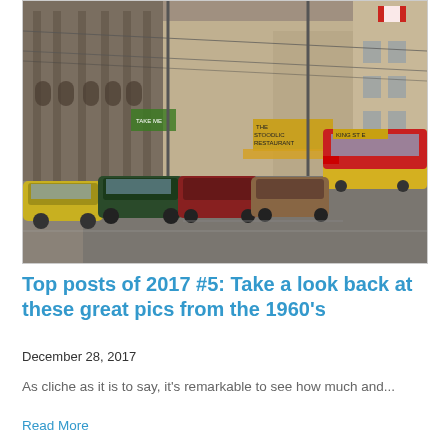[Figure (photo): Vintage 1960s city street scene with classic cars parked along the curb, a red and yellow streetcar/tram on the right, tall brick and stone commercial buildings lining both sides of the street, overhead wires, and a Canadian flag visible in the upper right.]
Top posts of 2017 #5: Take a look back at these great pics from the 1960's
December 28, 2017
As cliche as it is to say, it's remarkable to see how much and...
Read More